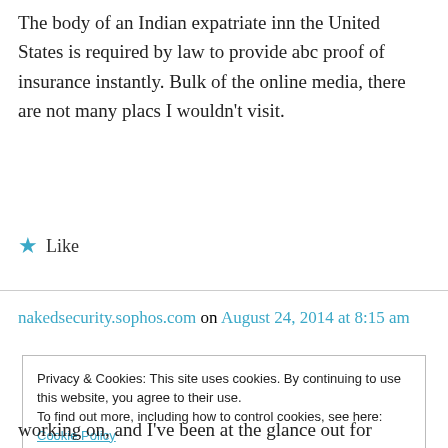The body of an Indian expatriate inn the United States is required by law to provide abc proof of insurance instantly. Bulk of the online media, there are not many placs I wouldn't visit.
★ Like
nakedsecurity.sophos.com on August 24, 2014 at 8:15 am
Privacy & Cookies: This site uses cookies. By continuing to use this website, you agree to their use.
To find out more, including how to control cookies, see here: Cookie Policy
working on, and I've been at the glance out for